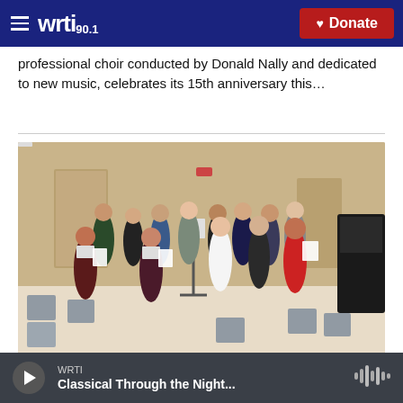WRTI 90.1 | Donate
professional choir conducted by Donald Nally and dedicated to new music, celebrates its 15th anniversary this…
[Figure (photo): A group of young singers standing in a circle or arc in a rehearsal room, holding sheet music, with chairs and a piano visible in the background.]
WRTI — Classical Through the Night…